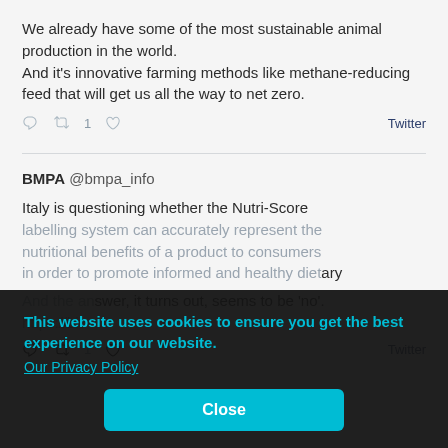We already have some of the most sustainable animal production in the world.
And it's innovative farming methods like methane-reducing feed that will get us all the way to net zero.
BMPA @bmpa_info
Italy is questioning whether the Nutri-Score labelling system can accurately represent the nutritional benefits of a product to consumers in order to promote informed and healthy dietary And the answer, it turns out, seems to be 'no'. https://bit...
[Figure (screenshot): Cookie consent overlay on a dark semi-transparent background with text 'This website uses cookies to ensure you get the best experience on our website.' and a link 'Our Privacy Policy', plus a cyan 'Close' button.]